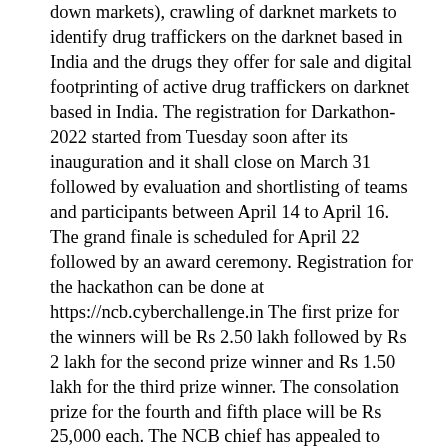down markets), crawling of darknet markets to identify drug traffickers on the darknet based in India and the drugs they offer for sale and digital footprinting of active drug traffickers on darknet based in India. The registration for Darkathon-2022 started from Tuesday soon after its inauguration and it shall close on March 31 followed by evaluation and shortlisting of teams and participants between April 14 to April 16. The grand finale is scheduled for April 22 followed by an award ceremony. Registration for the hackathon can be done at https://ncb.cyberchallenge.in The first prize for the winners will be Rs 2.50 lakh followed by Rs 2 lakh for the second prize winner and Rs 1.50 lakh for the third prize winner. The consolation prize for the fourth and fifth place will be Rs 25,000 each. The NCB chief has appealed to everyone, particularly students and technical experts to participate in the 'Darkathon 2022' to test their skills and to help the country in finding a solution for the challenges that emerged due to misuse of technology. Cybercrimes have permeated almost every facet of society and are growing in volume, velocity and sophistication with each passing day, posing challenges to the best efforts of law enforcement agencies in India and across the world. The anonymity offered by dark web has drawn criminals in all garbs to flock to it for aiding and abetting their crimes. Darknet markets offering illegal substances and services to people have emerged as one of the major challenges to law enforcement across the globe. Drugs are the most widely offered illegal substance in all of